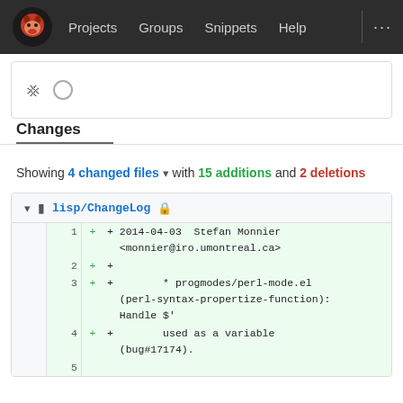Projects  Groups  Snippets  Help  ...
Changes
Showing 4 changed files ▾ with 15 additions and 2 deletions
lisp/ChangeLog
| old | new | op | content |
| --- | --- | --- | --- |
|  | 1 | + | 2014-04-03  Stefan Monnier <monnier@iro.umontreal.ca> |
|  | 2 | + |  |
|  | 3 | + |         * progmodes/perl-mode.el (perl-syntax-propertize-function): Handle $' |
|  | 4 | + |         used as a variable (bug#17174). |
|  | 5 |  |  |